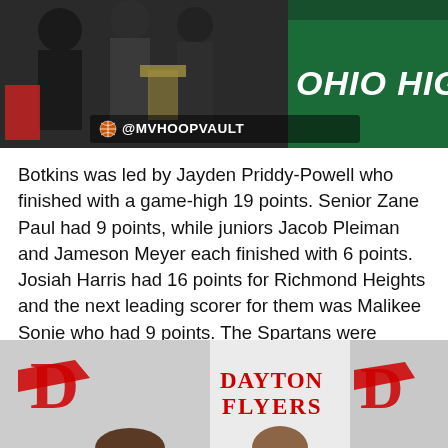[Figure (photo): Photo of people at what appears to be an Ohio High School basketball event, with a green banner visible on the right side reading 'OHIO HIGH S'. A watermark '@MVHOOPVAULT' with a basketball icon is overlaid at the bottom center.]
Botkins was led by Jayden Priddy-Powell who finished with a game-high 19 points. Senior Zane Paul had 9 points, while juniors Jacob Pleiman and Jameson Meyer each finished with 6 points. Josiah Harris had 16 points for Richmond Heights and the next leading scorer for them was Malikee Sonie who had 9 points. The Spartans were without a key starter for the entire postseason but as they return Harris next year their future is still bright.
[Figure (photo): Photo of a Dayton Flyers signing event or press conference, showing the Dayton Flyers logo (red D with wings) on the left and right, and 'DAYTON FLYERS' text in the center. A person's head is partially visible at the bottom.]